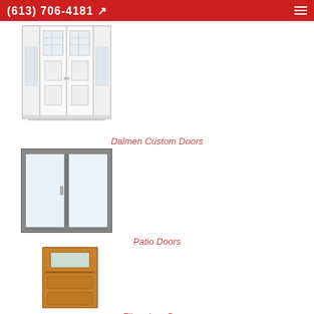(613) 706-4181
[Figure (photo): White double entry door with sidelights and decorative glass panels]
Dalmen Custom Doors
[Figure (photo): Dark-framed sliding patio door with clear glass panels and handle]
Patio Doors
[Figure (photo): Wooden fiberglass door with small rectangular frosted glass window at top]
Fiberglass Doors